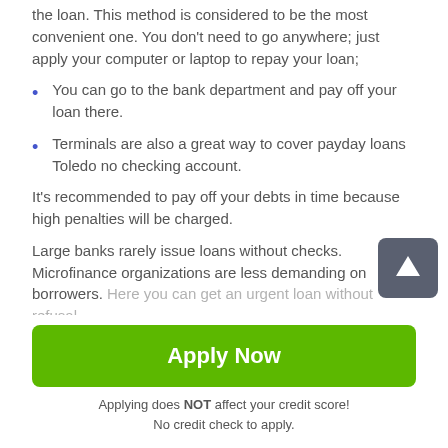the loan. This method is considered to be the most convenient one. You don't need to go anywhere; just apply your computer or laptop to repay your loan;
You can go to the bank department and pay off your loan there.
Terminals are also a great way to cover payday loans Toledo no checking account.
It's recommended to pay off your debts in time because high penalties will be charged.
Large banks rarely issue loans without checks. Microfinance organizations are less demanding on borrowers. Here you can get an urgent loan without refusal
[Figure (other): Scroll-to-top button with upward arrow icon on dark gray background]
Apply Now
Applying does NOT affect your credit score!
No credit check to apply.